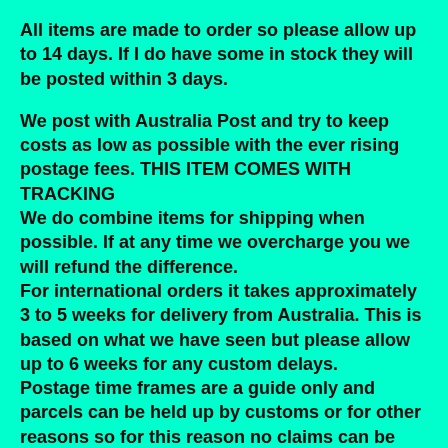All items are made to order so please allow up to 14 days. If I do have some in stock they will be posted within 3 days.
We post with Australia Post and try to keep costs as low as possible with the ever rising postage fees. THIS ITEM COMES WITH TRACKING
We do combine items for shipping when possible. If at any time we overcharge you we will refund the difference.
For international orders it takes approximately 3 to 5 weeks for delivery from Australia. This is based on what we have seen but please allow up to 6 weeks for any custom delays.
Postage time frames are a guide only and parcels can be held up by customs or for other reasons so for this reason no claims can be made prior to 60 days for international deliveries. This is to ensure enough time for the parcel to be delivered or returned if there is an error with your address or any other custom problems.
After this time we will work with you to find a solution.